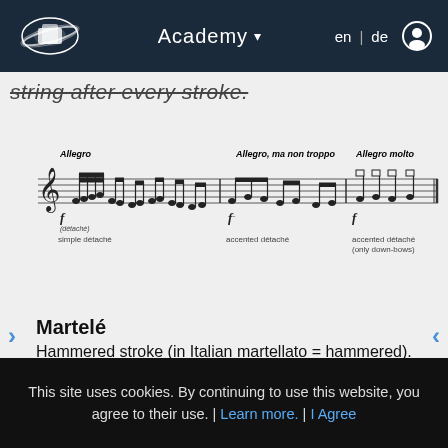Academy ▾  en | de
string after every stroke.
[Figure (illustration): Musical notation showing three examples: 'Allegro' with 'simple détaché', 'Allegro, ma non troppo' with 'accented détaché', and 'Allegro molto' with 'accented détaché (only down-bows)'. Each section shows staff notation with notes and dynamic markings.]
Martelé
Hammered stroke (in Italian martellato = hammered).
Every stroke, whether up or down, is ended
This site uses cookies. By continuing to use this website, you agree to their use. | Learn more. | I Agree